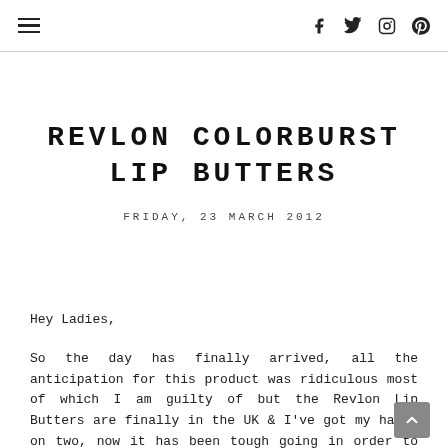☰  f  t  instagram  p
REVLON COLORBURST LIP BUTTERS
FRIDAY, 23 MARCH 2012
Hey Ladies,
So the day has finally arrived, all the anticipation for this product was ridiculous most of which I am guilty of but the Revlon Lip Butters are finally in the UK & I've got my hands on two, now it has been tough going in order to achieve